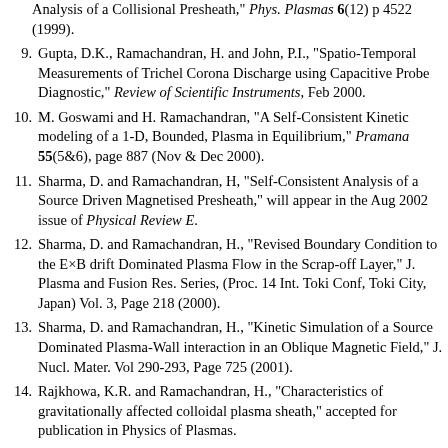Analysis of a Collisional Presheath," Phys. Plasmas 6(12) p 4522 (1999).
9. Gupta, D.K., Ramachandran, H. and John, P.I., "Spatio-Temporal Measurements of Trichel Corona Discharge using Capacitive Probe Diagnostic," Review of Scientific Instruments, Feb 2000.
10. M. Goswami and H. Ramachandran, "A Self-Consistent Kinetic modeling of a 1-D, Bounded, Plasma in Equilibrium," Pramana 55(5&6), page 887 (Nov & Dec 2000).
11. Sharma, D. and Ramachandran, H, "Self-Consistent Analysis of a Source Driven Magnetised Presheath," will appear in the Aug 2002 issue of Physical Review E.
12. Sharma, D. and Ramachandran, H., "Revised Boundary Condition to the E×B drift Dominated Plasma Flow in the Scrap-off Layer," J. Plasma and Fusion Res. Series, (Proc. 14 Int. Toki Conf, Toki City, Japan) Vol. 3, Page 218 (2000).
13. Sharma, D. and Ramachandran, H., "Kinetic Simulation of a Source Dominated Plasma-Wall interaction in an Oblique Magnetic Field," J. Nucl. Mater. Vol 290-293, Page 725 (2001).
14. Rajkhowa, K.R. and Ramachandran, H., "Characteristics of gravitationally affected colloidal plasma sheath," accepted for publication in Physics of Plasmas.